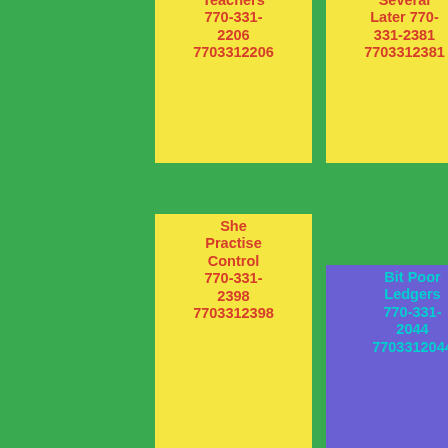Teachers 770-331-2206 7703312206
Several Later 770-331-2381 7703312381
Smiling Tant 770-331-2321 7703312321
She Practise Control 770-331-2398 7703312398
Bit Poor Ledgers 770-331-2044 7703312044
Indeed Isle 770-331-2814 7703312814
Scoop) Lights Bristol 770-331-2883 7703312883
Miss Bidin Stunned 770-331-2012 7703312012
Visit 770-331-2041 7703312041
Corner Glass 770-
Gripped Advice 770-331-
Eh Ear 770-